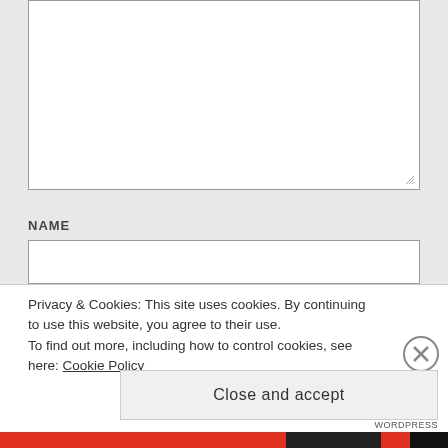[Figure (screenshot): Empty white textarea input box with resize handle at bottom-right corner]
NAME
[Figure (screenshot): Empty white text input box for name field]
Privacy & Cookies: This site uses cookies. By continuing to use this website, you agree to their use.
To find out more, including how to control cookies, see here: Cookie Policy
Close and accept